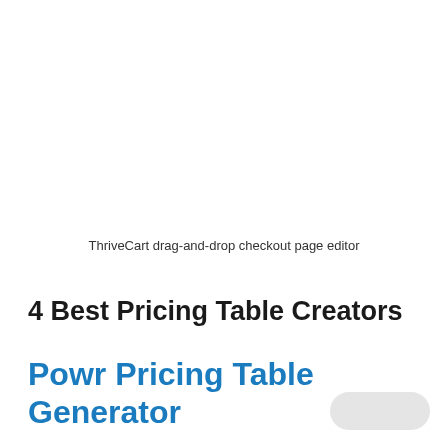ThriveCart drag-and-drop checkout page editor
4 Best Pricing Table Creators
Powr Pricing Table Generator